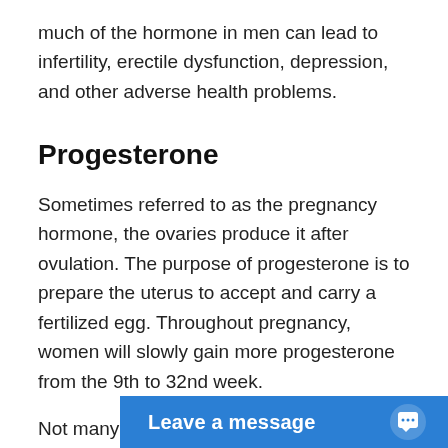much of the hormone in men can lead to infertility, erectile dysfunction, depression, and other adverse health problems.
Progesterone
Sometimes referred to as the pregnancy hormone, the ovaries produce it after ovulation. The purpose of progesterone is to prepare the uterus to accept and carry a fertilized egg. Throughout pregnancy, women will slowly gain more progesterone from the 9th to 32nd week.
Not many realize just how vital progesterone is for male health, namely m… produce this hormon…